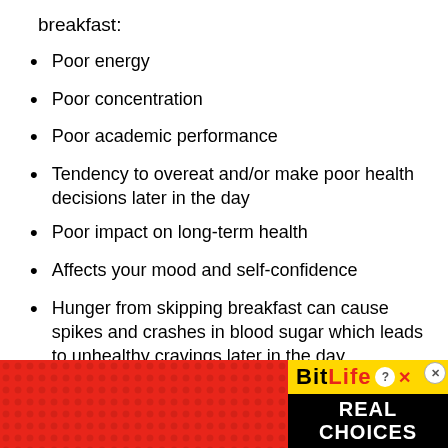breakfast:
Poor energy
Poor concentration
Poor academic performance
Tendency to overeat and/or make poor health decisions later in the day
Poor impact on long-term health
Affects your mood and self-confidence
Hunger from skipping breakfast can cause spikes and crashes in blood sugar which leads to unhealthy cravings later in the day
[Figure (other): BitLife mobile game advertisement banner with emoji characters (devil, person shrugging, angel), sperm icon, BitLife logo in yellow, and 'REAL CHOICES' text on black background, on red dotted background]